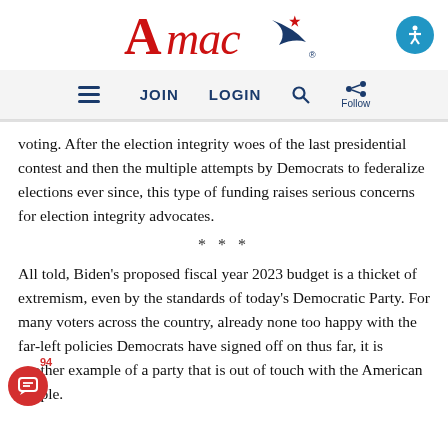AMAC logo and navigation bar with JOIN, LOGIN, Search, Follow
voting. After the election integrity woes of the last presidential contest and then the multiple attempts by Democrats to federalize elections ever since, this type of funding raises serious concerns for election integrity advocates.
***
All told, Biden's proposed fiscal year 2023 budget is a thicket of extremism, even by the standards of today's Democratic Party. For many voters across the country, already none too happy with the far-left policies Democrats have signed off on thus far, it is another example of a party that is out of touch with the American people.